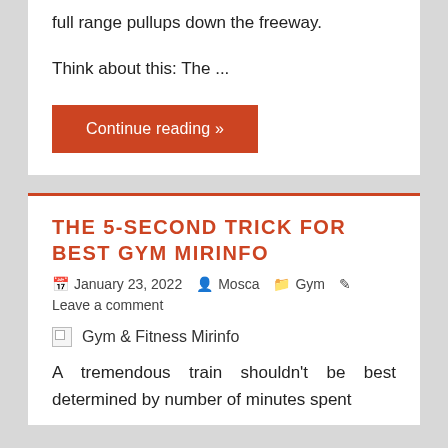full range pullups down the freeway.
Think about this: The ...
Continue reading »
THE 5-SECOND TRICK FOR BEST GYM MIRINFO
January 23, 2022  Mosca  Gym
Leave a comment
[Figure (photo): Broken image placeholder with label 'Gym & Fitness Mirinfo']
A tremendous train shouldn't be best determined by number of minutes spent